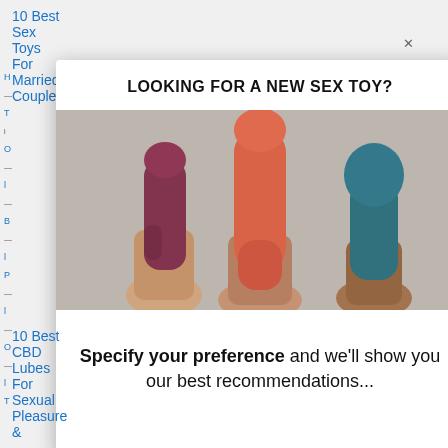10 Best Sex Toys For Married Couples
[Figure (photo): Modal popup advertisement showing three hands holding sex toys (maroon, orange/coral, and teal colored vibrators) against a beige/grey background. Header text reads 'LOOKING FOR A NEW SEX TOY?' and footer text reads 'Specify your preference and we'll show you our best recommendations...']
10 Best CBD Lubes For Sexual Pleasure &